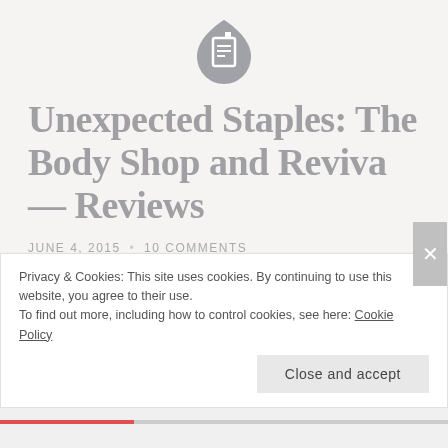[Figure (logo): Dark gray document/page icon with a teardrop or shield shape outline and a white document symbol inside]
Unexpected Staples: The Body Shop and Reviva — Reviews
JUNE 4, 2015 • 10 COMMENTS
Hello Lovelies!
For this post, I wanted to write reviews about two of my
Privacy & Cookies: This site uses cookies. By continuing to use this website, you agree to their use.
To find out more, including how to control cookies, see here: Cookie Policy
Close and accept